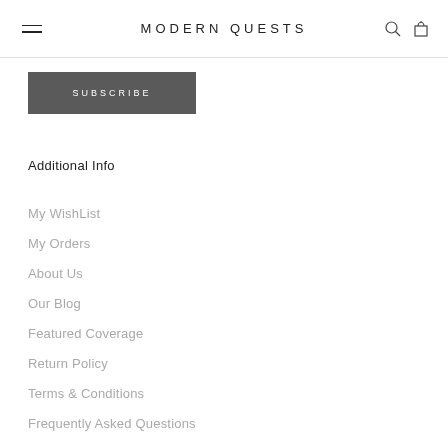MODERN QUESTS
SUBSCRIBE
Additional Info
My WishList
My Orders
About Us
Our Blog
Featured Coverage
Return Policy
Terms & Conditions
Frequently Asked Questions